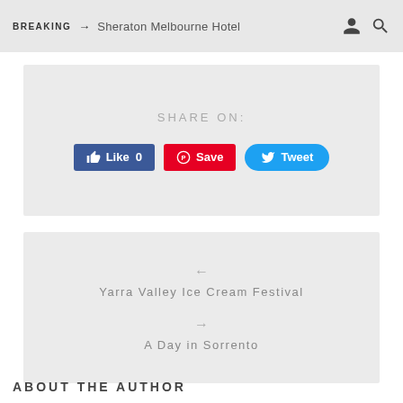BREAKING → Sheraton Melbourne Hotel
SHARE ON:
[Figure (screenshot): Social share buttons: Like 0 (Facebook, blue), Save (Pinterest, red), Tweet (Twitter, blue)]
← Yarra Valley Ice Cream Festival
→ A Day in Sorrento
ABOUT THE AUTHOR